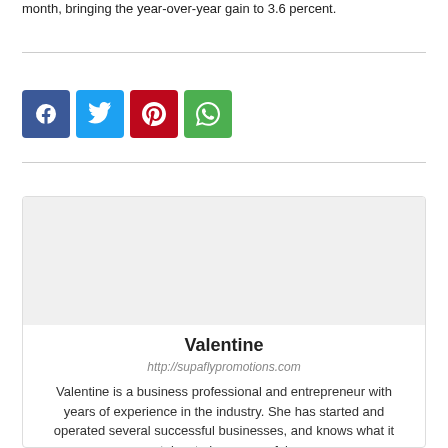month, bringing the year-over-year gain to 3.6 percent.
[Figure (infographic): Social sharing buttons: Facebook (blue), Twitter (light blue), Pinterest (red), WhatsApp (green)]
Valentine
http://supaflypromotions.com
Valentine is a business professional and entrepreneur with years of experience in the industry. She has started and operated several successful businesses, and knows what it takes to be successful